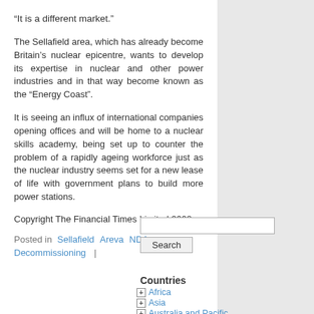“It is a different market.”
The Sellafield area, which has already become Britain’s nuclear epicentre, wants to develop its expertise in nuclear and other power industries and in that way become known as the “Energy Coast”.
It is seeing an influx of international companies opening offices and will be home to a nuclear skills academy, being set up to counter the problem of a rapidly ageing workforce just as the nuclear industry seems set for a new lease of life with government plans to build more power stations.
Copyright The Financial Times Limited 2008
Posted in  Sellafield  Areva  NDA  Decommissioning  |
[Figure (other): Search input box and Search button]
Countries
+ Africa
+ Asia
+ Australia and Pacific
+ Central America
- Europe
+ Albania (partially visible)